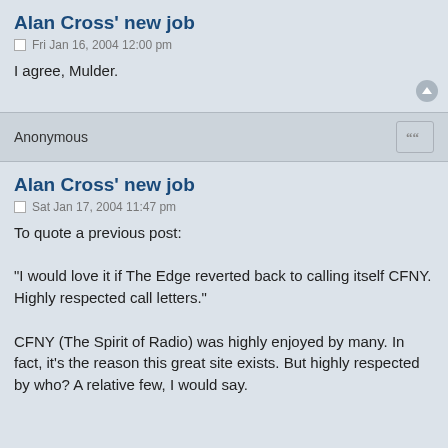Alan Cross' new job
Fri Jan 16, 2004 12:00 pm
I agree, Mulder.
Anonymous
Alan Cross' new job
Sat Jan 17, 2004 11:47 pm
To quote a previous post:

"I would love it if The Edge reverted back to calling itself CFNY. Highly respected call letters."

CFNY (The Spirit of Radio) was highly enjoyed by many. In fact, it's the reason this great site exists. But highly respected by who? A relative few, I would say.